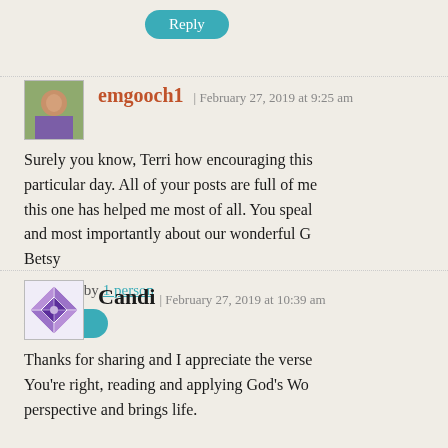Reply (button)
emgooch1 | February 27, 2019 at 9:25 am
Surely you know, Terri how encouraging this particular day. All of your posts are full of me this one has helped me most of all. You speal and most importantly about our wonderful G Betsy
Liked by 1 person
Reply (button)
Candi | February 27, 2019 at 10:39 am
Thanks for sharing and I appreciate the verse You're right, reading and applying God's Wo perspective and brings life.